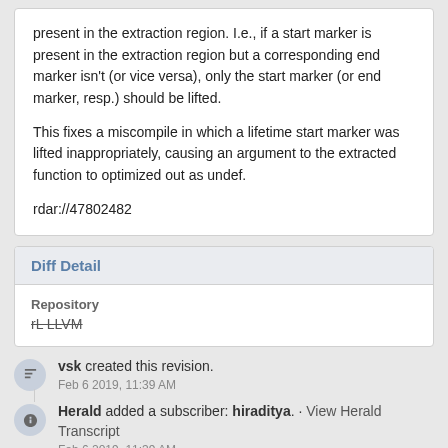present in the extraction region. I.e., if a start marker is present in the extraction region but a corresponding end marker isn't (or vice versa), only the start marker (or end marker, resp.) should be lifted.
This fixes a miscompile in which a lifetime start marker was lifted inappropriately, causing an argument to the extracted function to optimized out as undef.
rdar://47802482
Diff Detail
Repository
rL LLVM
vsk created this revision.
Feb 6 2019, 11:39 AM
Herald added a subscriber: hiraditya. · View Herald Transcript
Feb 6 2019, 11:39 AM